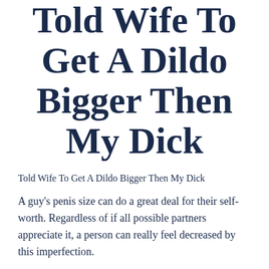Told Wife To Get A Dildo Bigger Then My Dick
Told Wife To Get A Dildo Bigger Then My Dick
A guy's penis size can do a great deal for their self-worth. Regardless of if all possible partners appreciate it, a person can really feel decreased by this imperfection.
1. Quick Extender Pro (our recommended option)